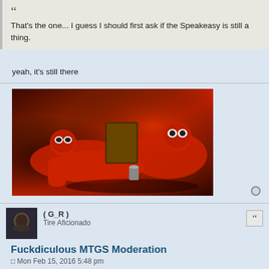That's the one... I guess I should first ask if the Speakeasy is still a thing.
yeah, it's still there
[Figure (illustration): Comic book style image of Deadpool characters in red suits lounging and reading]
( G_R )
Tire Aficionado
Fuckdiculous MTGS Moderation
Mon Feb 15, 2016 5:48 pm
Is it still hug-land?
My face when you call me a Mexican.
Mcdonalds » Thu Jun 25, 2015 11:20 pm wrote: